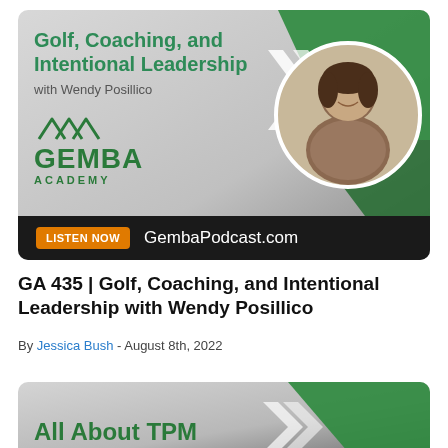[Figure (illustration): Gemba Academy podcast card for 'Golf, Coaching, and Intentional Leadership with Wendy Posillico'. Features the Gemba Academy logo with mountain icon, green arrow design elements, a circular headshot of Wendy Posillico, an orange 'LISTEN NOW' button, and 'GembaPodcast.com' on a dark bottom bar. Gray and green gradient background.]
GA 435 | Golf, Coaching, and Intentional Leadership with Wendy Posillico
By Jessica Bush - August 8th, 2022
[Figure (illustration): Partial view of a second Gemba Academy podcast card showing 'All About TPM' text in green on a gray/dark gradient background with green arrow design elements visible on the right.]